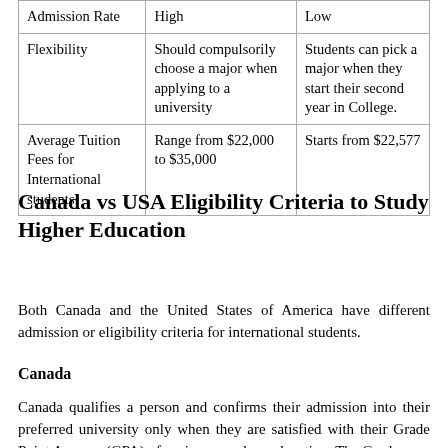|  | Canada | USA |
| --- | --- | --- |
| Admission Rate | High | Low |
| Flexibility | Should compulsorily choose a major when applying to a university | Students can pick a major when they start their second year in College. |
| Average Tuition Fees for International students | Range from $22,000 to $35,000 | Starts from $22,577 |
Canada vs USA Eligibility Criteria to Study Higher Education
Both Canada and the United States of America have different admission or eligibility criteria for international students.
Canada
Canada qualifies a person and confirms their admission into their preferred university only when they are satisfied with their Grade Point Average (GPA) of senior secondary education. The Grade